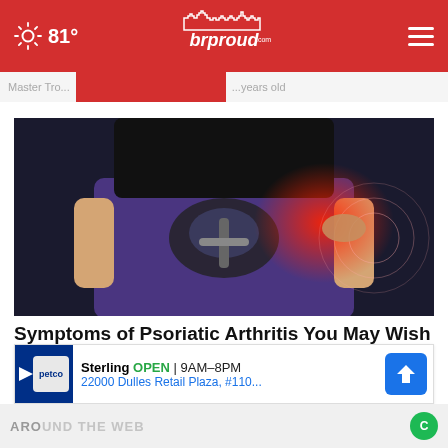81° brproud.com
[Figure (photo): Medical illustration showing hip/pelvis anatomy with inflammation highlighted in red on a person wearing blue pants, with hand pressing on the hip area]
Symptoms of Psoriatic Arthritis You May Wish You Knew Sooner
Ad by Psoriatic Arthritis | Sponsore
[Figure (infographic): Petco advertisement banner showing Sterling location, OPEN 9AM-8PM, 22000 Dulles Retail Plaza, #110...]
AROUND THE WEB